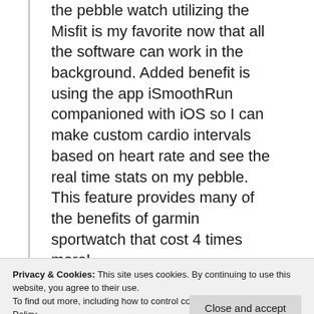the pebble watch utilizing the Misfit is my favorite now that all the software can work in the background. Added benefit is using the app iSmoothRun companioned with iOS so I can make custom cardio intervals based on heart rate and see the real time stats on my pebble. This feature provides many of the benefits of garmin sportwatch that cost 4 times more!
Privacy & Cookies: This site uses cookies. By continuing to use this website, you agree to their use. To find out more, including how to control cookies, see here: Cookie Policy
That's a shame about the Withings. I